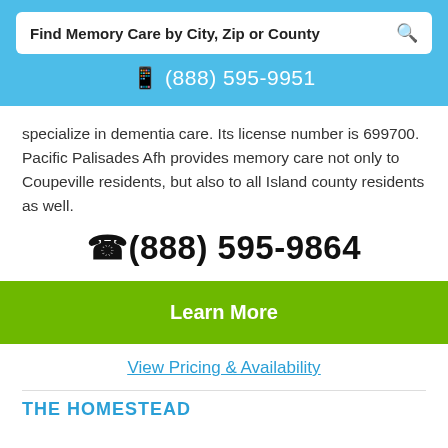Find Memory Care by City, Zip or County
(888) 595-9951
specialize in dementia care. Its license number is 699700. Pacific Palisades Afh provides memory care not only to Coupeville residents, but also to all Island county residents as well.
(888) 595-9864
Learn More
View Pricing & Availability
THE HOMESTEAD